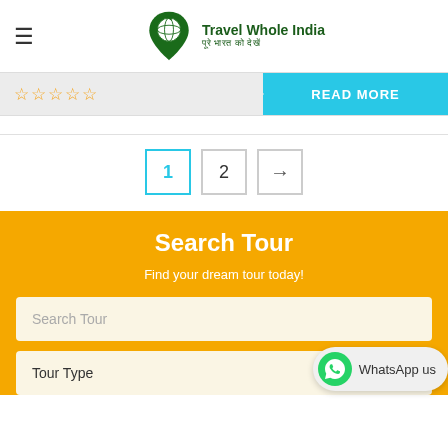[Figure (logo): Travel Whole India logo — green location pin with globe and airplane, with company name and Hindi tagline]
[Figure (infographic): Rating bar with 5 empty gold stars and a cyan 'READ MORE' button]
1  2  →
Search Tour
Find your dream tour today!
Search Tour
Tour Type
[Figure (logo): WhatsApp us floating bubble with green WhatsApp icon]